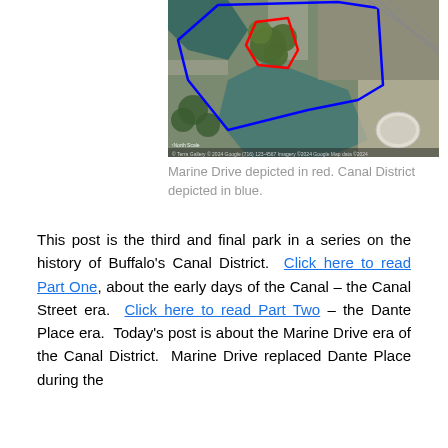[Figure (map): Aerial/satellite map view of Buffalo's Canal District and Marine Drive area. A blue polygon outlines the Canal District region and a red polygon outlines the Marine Drive area. The image shows waterways, roads, parking lots, a domed stadium, and urban infrastructure from a bird's-eye perspective.]
Marine Drive depicted in red. Canal District depicted in blue.
This post is the third and final park in a series on the history of Buffalo's Canal District. Click here to read Part One, about the early days of the Canal – the Canal Street era. Click here to read Part Two – the Dante Place era. Today's post is about the Marine Drive era of the Canal District. Marine Drive replaced Dante Place during the